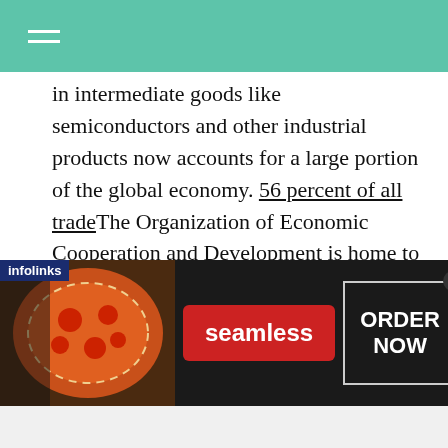in intermediate goods like semiconductors and other industrial products now accounts for a large portion of the global economy. 56 percent of all tradeThe Organization of Economic Cooperation and Development is home to the richest countries in the global trade system. This means that if global shipping is disrupted (in this case because of the pandemic shut down), so is industrial production and distribution in some sectors.
[Figure (screenshot): Seamless food delivery advertisement banner with pizza image on left, red Seamless button in center, and ORDER NOW button on right with infolinks label]